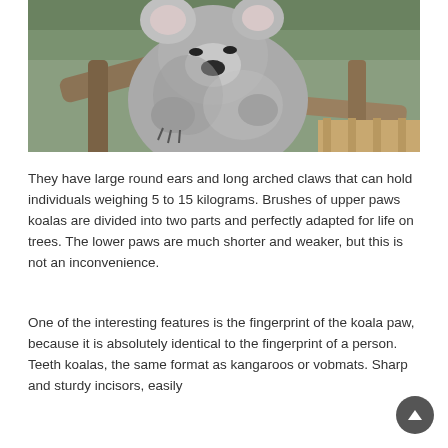[Figure (photo): A koala resting on a tree branch, gray fluffy animal with large ears, eyes partially closed, hugging the branch]
They have large round ears and long arched claws that can hold individuals weighing 5 to 15 kilograms. Brushes of upper paws koalas are divided into two parts and perfectly adapted for life on trees. The lower paws are much shorter and weaker, but this is not an inconvenience.
One of the interesting features is the fingerprint of the koala paw, because it is absolutely identical to the fingerprint of a person. Teeth koalas, the same format as kangaroos or vobmats. Sharp and sturdy incisors, easily